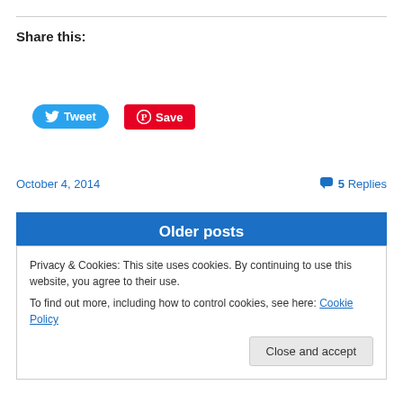Share this:
[Figure (screenshot): Tweet button (blue rounded) and Save button (red, Pinterest)]
October 4, 2014   💬 5 Replies
Older posts
Privacy & Cookies: This site uses cookies. By continuing to use this website, you agree to their use.
To find out more, including how to control cookies, see here: Cookie Policy
Close and accept